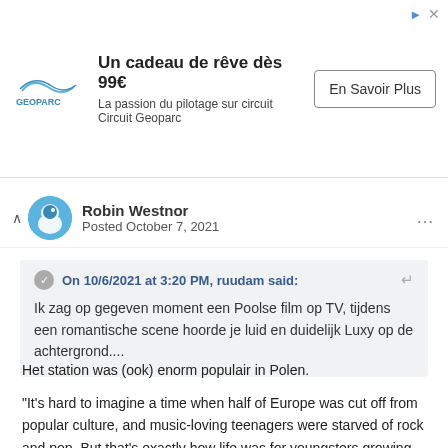[Figure (screenshot): Advertisement banner for Geoparc with logo, text 'Un cadeau de rêve dès 99€ / La passion du pilotage sur circuit Circuit Geoparc', and 'En Savoir Plus' button]
Robin Westnor
Posted October 7, 2021
On 10/6/2021 at 3:20 PM, ruudam said:
Ik zag op gegeven moment een Poolse film op TV, tijdens een romantische scene hoorde je luid en duidelijk Luxy op de achtergrond....
Het station was (ook) enorm populair in Polen.
"It's hard to imagine a time when half of Europe was cut off from popular culture, and music-loving teenagers were starved of rock and pop. But that's exactly how life was for youngsters growing up behind the Iron Curtain during the Cold War.